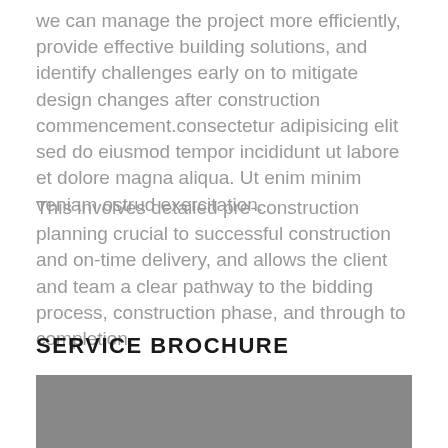we can manage the project more efficiently, provide effective building solutions, and identify challenges early on to mitigate design changes after construction commencement.consectetur adipisicing elit sed do eiusmod tempor incididunt ut labore et dolore magna aliqua. Ut enim minim veniam ostrud exercitation.
This involves detailed pre-construction planning crucial to successful construction and on-time delivery, and allows the client and team a clear pathway to the bidding process, construction phase, and through to completion.
SERVICE BROCHURE
[Figure (photo): A gray rectangular image placeholder at the bottom of the page, partially visible.]